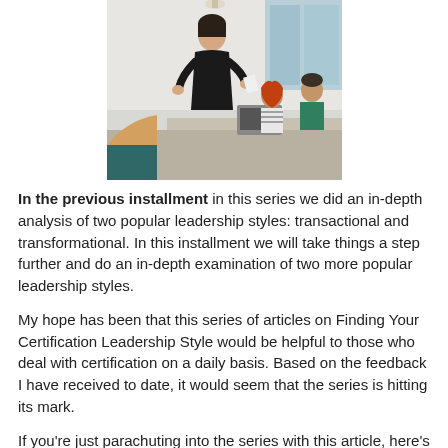[Figure (photo): A woman with dark short hair, dressed in a black top, stands presenting at a conference table. A red-haired woman and a man sit at the table with laptops. Another person is partially visible in the foreground.]
In the previous installment in this series we did an in-depth analysis of two popular leadership styles: transactional and transformational.  In this installment we will take things a step further and do an in-depth examination of two more popular leadership styles.
My hope has been that this series of articles on Finding Your Certification Leadership Style would be helpful to those who deal with certification on a daily basis. Based on the feedback I have received to date, it would seem that the series is hitting its mark.
If you're just parachuting into the series with this article, here's what we're doing here: In each installment, I will examine two